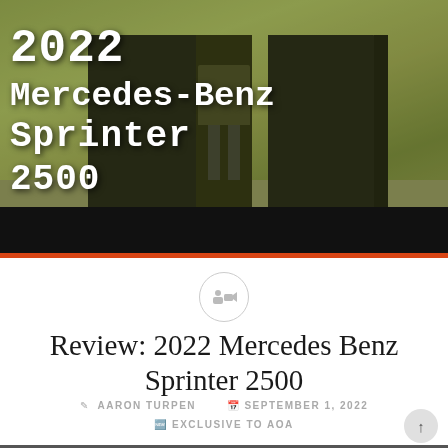[Figure (photo): Hero image of 2022 Mercedes-Benz Sprinter 2500 van with rear doors open, olive/green tinted photo with large white text overlay showing '2022 Mercedes-Benz Sprinter 2500']
Review: 2022 Mercedes Benz Sprinter 2500
AARON TURPEN   SEPTEMBER 1, 2022   EXCLUSIVE TO AOA